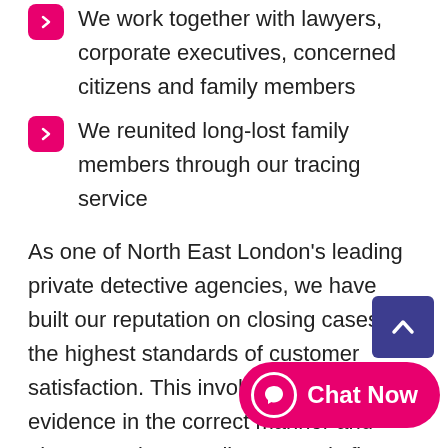We work together with lawyers, corporate executives, concerned citizens and family members
We reunited long-lost family members through our tracing service
As one of North East London's leading private detective agencies, we have built our reputation on closing cases to the highest standards of customer satisfaction. This involves obtaining evidence in the correct manner and always putting our clients' needs first – working within the bounds of the law to ensure that all of our clients achieve the best results possible.
Each of our handpicked private investigators in London